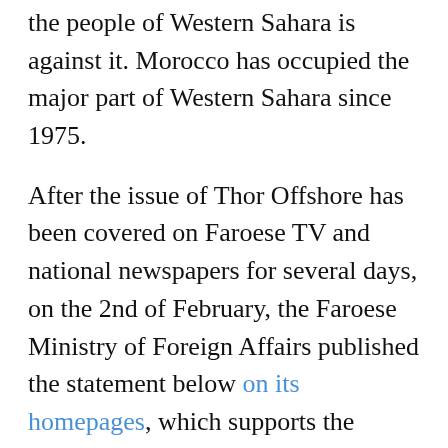the people of Western Sahara is against it. Morocco has occupied the major part of Western Sahara since 1975.
After the issue of Thor Offshore has been covered on Faroese TV and national newspapers for several days, on the 2nd of February, the Faroese Ministry of Foreign Affairs published the statement below on its homepages, which supports the interpretation of the UN.
"In light of the ongoing international debate about the legal status of Western Sahara, the Government of the Faroes has issued the following statement: